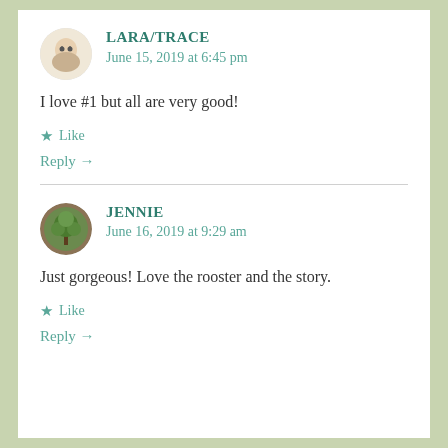LARA/TRACE
June 15, 2019 at 6:45 pm
I love #1 but all are very good!
Like
Reply →
JENNIE
June 16, 2019 at 9:29 am
Just gorgeous! Love the rooster and the story.
Like
Reply →